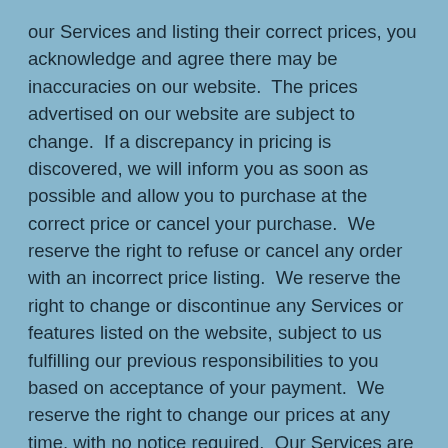our Services and listing their correct prices, you acknowledge and agree there may be inaccuracies on our website.  The prices advertised on our website are subject to change.  If a discrepancy in pricing is discovered, we will inform you as soon as possible and allow you to purchase at the correct price or cancel your purchase.  We reserve the right to refuse or cancel any order with an incorrect price listing.  We reserve the right to change or discontinue any Services or features listed on the website, subject to us fulfilling our previous responsibilities to you based on acceptance of your payment.  We reserve the right to change our prices at any time, with no notice required.  Our Services are offered subject to acceptance of your order.  We reserve the right to refuse to sell a Product or service to you, with no obligation to assign reason for doing so.
B. Financial Responsibility.